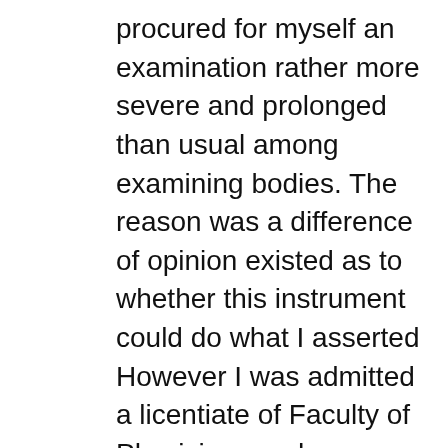procured for myself an examination rather more severe and prolonged than usual among examining bodies. The reason was a difference of opinion existed as to whether this instrument could do what I asserted However I was admitted a licentiate of Faculty of Physicians and Surgeons but though qualified for my original plan the opium was then raging and it was deemed inexpedient for me to proceed to China I had previously pursued theological studies both in Glasgow and in England